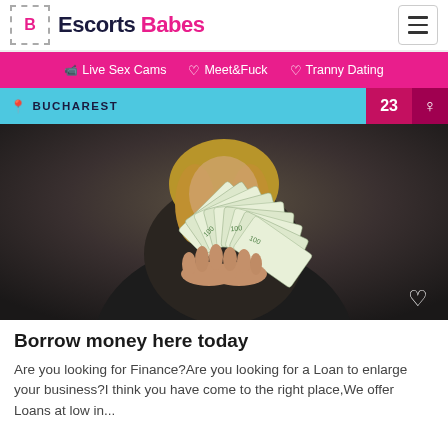Escorts Babes
📹 Live Sex Cams  ♡ Meet&Fuck  ♡ Tranny Dating
BUCHAREST  23  ♀
[Figure (photo): Woman in black clothing holding a fan of US $100 bills]
Borrow money here today
Are you looking for Finance?Are you looking for a Loan to enlarge your business?I think you have come to the right place,We offer Loans at low in...